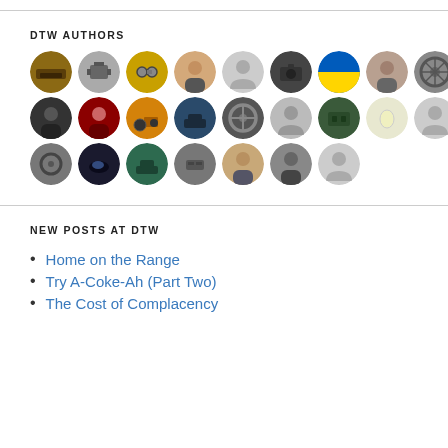DTW AUTHORS
[Figure (illustration): Grid of circular author avatar photos arranged in 3 rows of up to 9 avatars each, showing various car-related and person profile images]
NEW POSTS AT DTW
Home on the Range
Try A-Coke-Ah (Part Two)
The Cost of Complacency